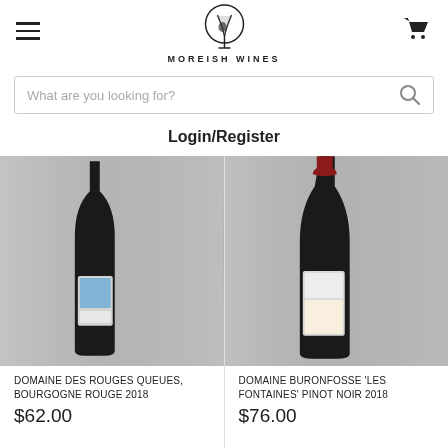MOREISH WINES
What are you looking for?
Login/Register
[Figure (photo): Red wine bottle - Domaine des Rouges Queues, Bourgogne Rouge 2018, with artistic label showing a bird]
DOMAINE DES ROUGES QUEUES, BOURGOGNE ROUGE 2018
$62.00
[Figure (photo): Red wine bottle - Domaine Buronfosse 'Les Fontaines' Pinot Noir 2018, with illustrated label]
DOMAINE BURONFOSSE 'LES FONTAINES' PINOT NOIR 2018
$76.00